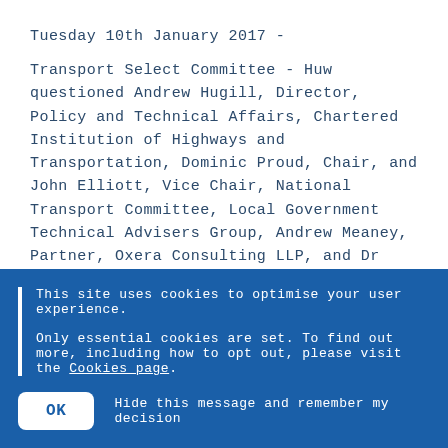Tuesday 10th January 2017 -
Transport Select Committee - Huw questioned Andrew Hugill, Director, Policy and Technical Affairs, Chartered Institution of Highways and Transportation, Dominic Proud, Chair, and John Elliott, Vice Chair, National Transport Committee, Local Government Technical Advisers Group, Andrew Meaney, Partner, Oxera Consulting LLP, and Dr David Met in the Transport Select Committee session on Urban Congestion.
https://www.huwmerriman.org.uk/news/transport-select-
This site uses cookies to optimise your user experience.

Only essential cookies are set. To find out more, including how to opt out, please visit the Cookies page.
OK   Hide this message and remember my decision